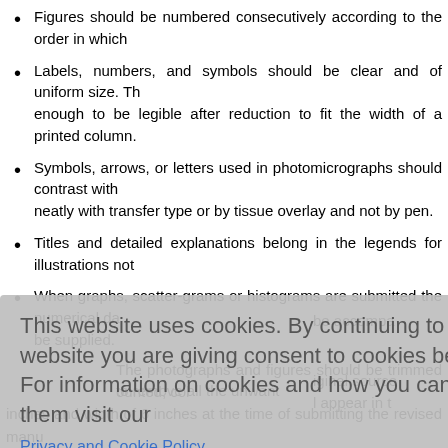Figures should be numbered consecutively according to the order in which they appear in the text.
Labels, numbers, and symbols should be clear and of uniform size. They should be large enough to be legible after reduction to fit the width of a printed column.
Symbols, arrows, or letters used in photomicrographs should contrast with the background and be marked neatly with transfer type or by tissue overlay and not by pen.
Titles and detailed explanations belong in the legends for illustrations not on the illustrations themselves.
When graphs, scatter-grams or histograms are submitted the numerical data on which they were based should also be supplied.
The photographs and figures should be trimmed to remove all the unwanted areas.
be accompanied
iginal source, I appear in the
n 40 words, o the illustrations fy and explain ng in photomicrographs
ounted, color inches and width of 6 inches at the time of submitting the revised manuscript.
This website uses cookies. By continuing to use this website you are giving consent to cookies being used. For information on cookies and how you can disable them visit our Privacy and Cookie Policy.
AGREE & PROCEED